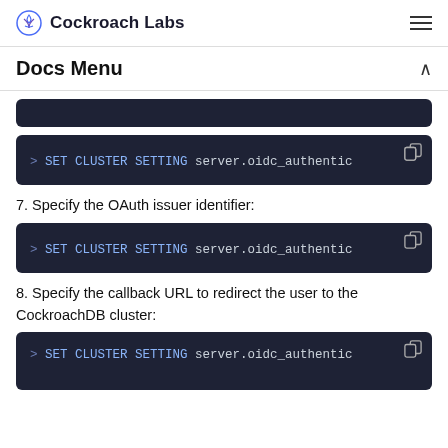Cockroach Labs
Docs Menu
[Figure (screenshot): Partial dark code block (top cut off)]
[Figure (screenshot): Dark code block: > SET CLUSTER SETTING server.oidc_authentic]
7. Specify the OAuth issuer identifier:
[Figure (screenshot): Dark code block: > SET CLUSTER SETTING server.oidc_authentic]
8. Specify the callback URL to redirect the user to the CockroachDB cluster:
[Figure (screenshot): Dark code block (partial bottom): > SET CLUSTER SETTING server.oidc_authentic]